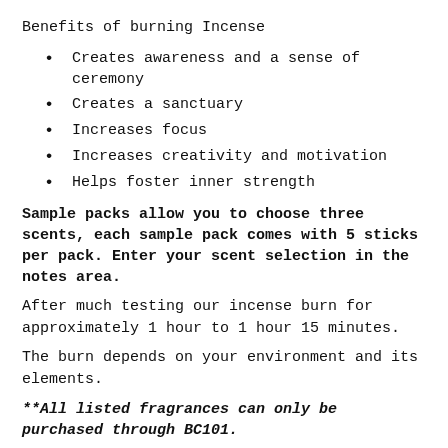Benefits of burning Incense
Creates awareness and a sense of ceremony
Creates a sanctuary
Increases focus
Increases creativity and motivation
Helps foster inner strength
Sample packs allow you to choose three scents, each sample pack comes with 5 sticks per pack. Enter your scent selection in the notes area.
After much testing our incense burn for approximately 1 hour to 1 hour 15 minutes.
The burn depends on your environment and its elements.
**All listed fragrances can only be purchased through BC101.